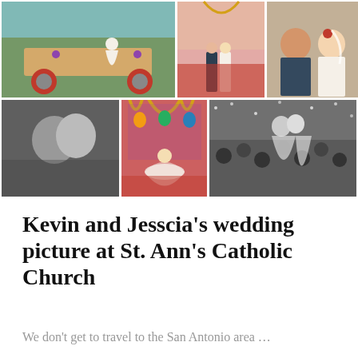[Figure (photo): Collage of 6 wedding photographs from Kevin and Jesscia's wedding at St. Ann's Catholic Church. Top row: bride on decorated wagon outdoors, couple standing at altar in church, groom and bride smiling in church pew. Bottom row: black and white close-up of couple kissing, couple at colorful church altar in color, black and white photo of couple exiting church with crowd celebrating.]
Kevin and Jesscia's wedding picture at St. Ann's Catholic Church
We don't get to travel to the San Antonio area …